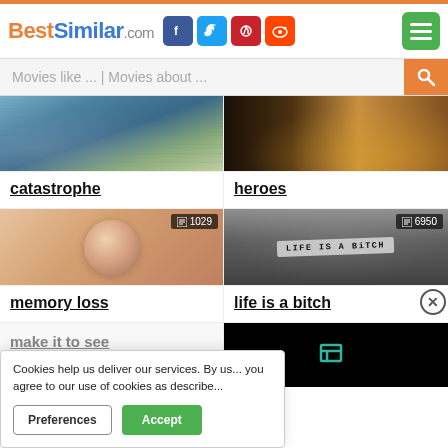BestSimilar.com
Movies like ... | Movies about ...
[Figure (photo): Catastrophe movie thumbnail – ocean wave and city buildings]
catastrophe
[Figure (photo): Heroes movie thumbnail – silhouettes of people with orange backlight]
heroes
[Figure (photo): Memory loss movie thumbnail – woman holding her head, badge 1029]
memory loss
[Figure (photo): Life is a bitch movie thumbnail – black and white image with text LIFE IS A BITCH, badge 6950]
life is a bitch
Cookies help us deliver our services. By us... you agree to our use of cookies as describe...
Preferences
Accept